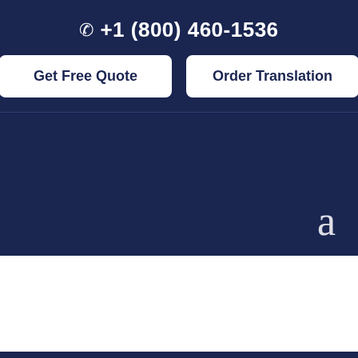+1 (800) 460-1536
Get Free Quote
Order Translation
a